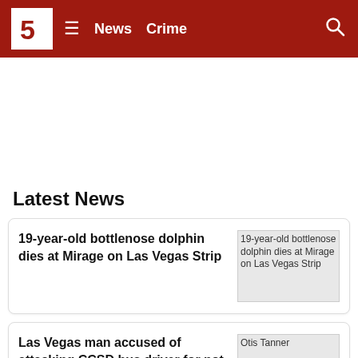5 News | Crime
Latest News
19-year-old bottlenose dolphin dies at Mirage on Las Vegas Strip
Las Vegas man accused of attacking CCSD bus driver for not taking daughter to school